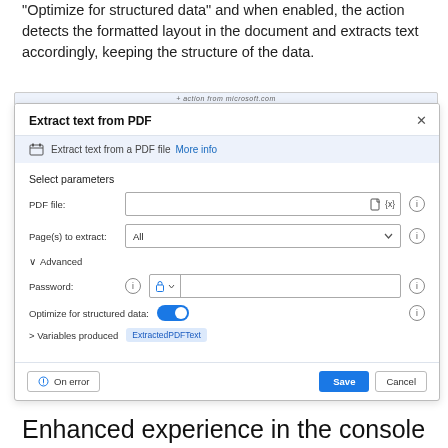Optimize for structured data and when enabled, the action detects the formatted layout in the document and extracts text accordingly, keeping the structure of the data.
[Figure (screenshot): Screenshot of the 'Extract text from PDF' dialog box in Power Automate Desktop, showing fields for PDF file, Page(s) to extract, Advanced section with Password field, Optimize for structured data toggle (enabled/blue), Variables produced showing 'ExtractedPDFText', and buttons for On error, Save, and Cancel.]
Enhanced experience in the console